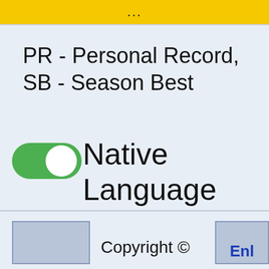…
PR - Personal Record, SB - Season Best
[Figure (other): Green toggle switch in the ON position (toggled right, white circle on right side with green background)]
Native Language Names
Copyright ©